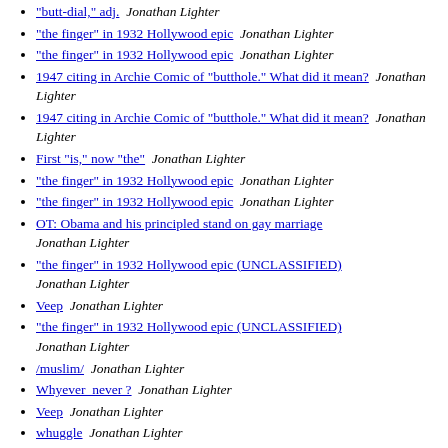"butt-dial," adj.  Jonathan Lighter
"the finger" in 1932 Hollywood epic  Jonathan Lighter
"the finger" in 1932 Hollywood epic  Jonathan Lighter
1947 citing in Archie Comic of "butthole." What did it mean?  Jonathan Lighter
1947 citing in Archie Comic of "butthole." What did it mean?  Jonathan Lighter
First "is," now "the"  Jonathan Lighter
"the finger" in 1932 Hollywood epic  Jonathan Lighter
"the finger" in 1932 Hollywood epic  Jonathan Lighter
OT: Obama and his principled stand on gay marriage  Jonathan Lighter
"the finger" in 1932 Hollywood epic (UNCLASSIFIED)  Jonathan Lighter
Veep  Jonathan Lighter
"the finger" in 1932 Hollywood epic (UNCLASSIFIED)  Jonathan Lighter
/muslim/  Jonathan Lighter
Whyever  never ?  Jonathan Lighter
Veep  Jonathan Lighter
whuggle  Jonathan Lighter
just "going through the emotions"  Jonathan Lighter
just "going through the emotions"  Jonathan Lighter
"pretzel palace"  Jonathan Lighter
"political"  Jonathan Lighter